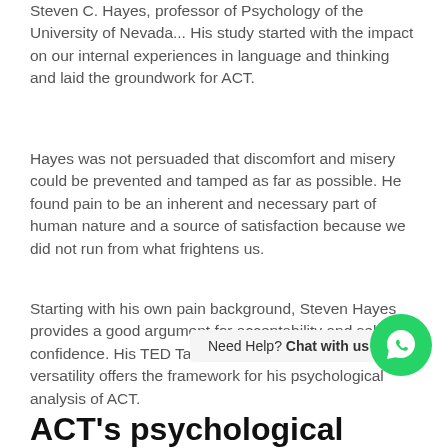Steven C. Hayes, professor of Psychology of the University of Nevada... His study started with the impact on our internal experiences in language and thinking and laid the groundwork for ACT.
Hayes was not persuaded that discomfort and misery could be prevented and tamped as far as possible. He found pain to be an inherent and necessary part of human nature and a source of satisfaction because we did not run from what frightens us.
Starting with his own pain background, Steven Hayes provides a good argument for acceptability and self-confidence. His TED Talk regarding psychological versatility offers the framework for his psychological analysis of ACT.
Need Help? Chat with us
ACT's psychological